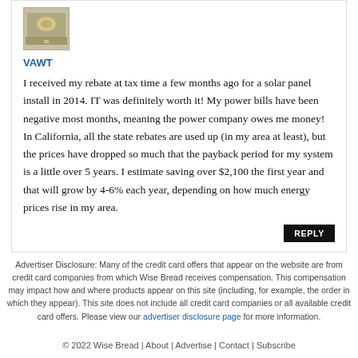[Figure (photo): Small thumbnail image of money/cash bills]
VAWT
I received my rebate at tax time a few months ago for a solar panel install in 2014. IT was definitely worth it! My power bills have been negative most months, meaning the power company owes me money! In California, all the state rebates are used up (in my area at least), but the prices have dropped so much that the payback period for my system is a little over 5 years. I estimate saving over $2,100 the first year and that will grow by 4-6% each year, depending on how much energy prices rise in my area.
REPLY
Advertiser Disclosure: Many of the credit card offers that appear on the website are from credit card companies from which Wise Bread receives compensation. This compensation may impact how and where products appear on this site (including, for example, the order in which they appear). This site does not include all credit card companies or all available credit card offers. Please view our advertiser disclosure page for more information.
© 2022 Wise Bread | About | Advertise | Contact | Subscribe